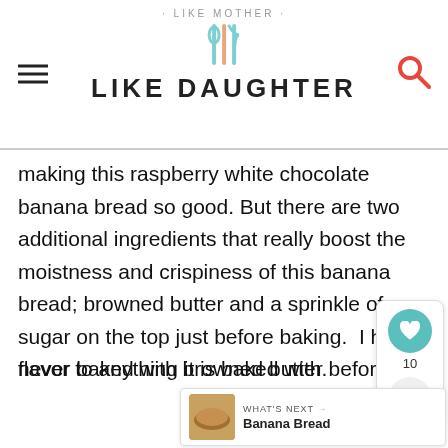· LIKE MOTHER · LIKE DAUGHTER
making this raspberry white chocolate banana bread so good. But there are two additional ingredients that really boost the moistness and crispiness of this banana bread; browned butter and a sprinkle of sugar on the top just before baking.  I have never baked with browned butter before and it was a game changer, believe me I will be doing it again. Browned butter brings a nutty flavor with it and adds this gr... flavor to anything it is baked with.
[Figure (infographic): Social widget with heart/like icon showing count of 10, and share icon]
[Figure (infographic): What's Next bar showing a banana bread thumbnail image with label 'WHAT'S NEXT →' and title 'Banana Bread']